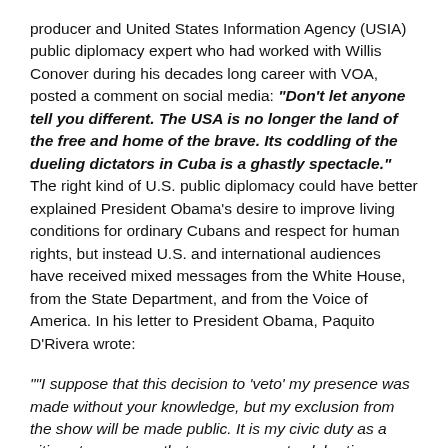producer and United States Information Agency (USIA) public diplomacy expert who had worked with Willis Conover during his decades long career with VOA, posted a comment on social media: “Don’t let anyone tell you different. The USA is no longer the land of the free and home of the brave. Its coddling of the dueling dictators in Cuba is a ghastly spectacle.” The right kind of U.S. public diplomacy could have better explained President Obama’s desire to improve living conditions for ordinary Cubans and respect for human rights, but instead U.S. and international audiences have received mixed messages from the White House, from the State Department, and from the Voice of America. In his letter to President Obama, Paquito D’Rivera wrote:
““I suppose that this decision to ‘veto’ my presence was made without your knowledge, but my exclusion from the show will be made public. It is my civic duty as a citizen to warn you that even an event celebrating a musical genre